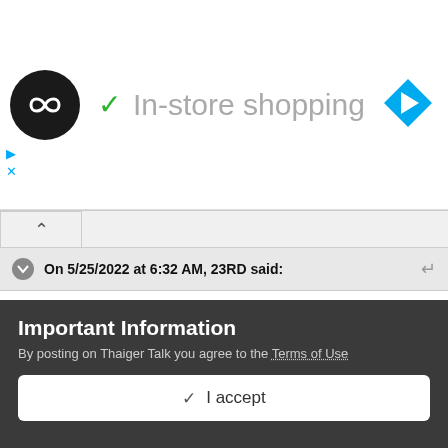[Figure (screenshot): Ad banner showing a black circular logo with infinity-like symbol, green checkmark, and 'In-store shopping' text in gray, with a blue diamond navigation icon on the right]
On 5/25/2022 at 6:32 AM, 23RD said:
That's exactly why certain people need to stop making assumptions in an ongoing incident.

Democrats, CNN, MSNBC, and Co are blaming everyone from Trump to Adolf Hitler without knowing the facts of a fluid situation.
Important Information
By posting on Thaiger Talk you agree to the Terms of Use
✓ I accept